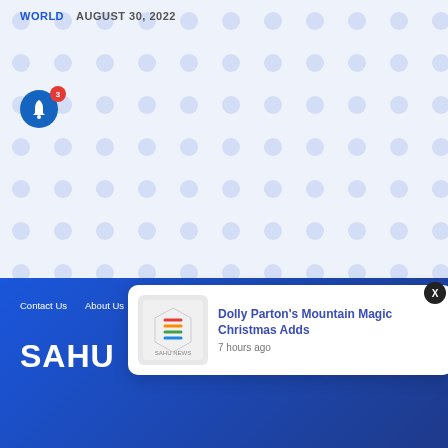WORLD   AUGUST 30, 2022
[Figure (screenshot): White section with repeating blue dot/circle pattern background]
Contact Us   About Us   Terms and Conditions   Privacy Policy
SAHU NEWS (logo, partial)
[Figure (screenshot): Notification popup card with Sahu News logo thumbnail, title 'Dolly Parton’s Mountain Magic Christmas Adds', time '7 hours ago', and a close X button]
Dolly Parton's Mountain Magic Christmas Adds
7 hours ago